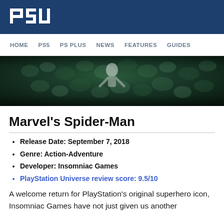PSU
HOME   PS5   PS PLUS   NEWS   FEATURES   GUIDES
[Figure (photo): Hero banner image showing a figure (Spider-Man) against a dark green background with scale-like texture]
Marvel’s Spider-Man
Release Date: September 7, 2018
Genre: Action-Adventure
Developer: Insomniac Games
PlayStation Universe review score: 9.5/10
A welcome return for PlayStation’s original superhero icon, Insomniac Games have not just given us another addling PlayStation exclusive, but they have...